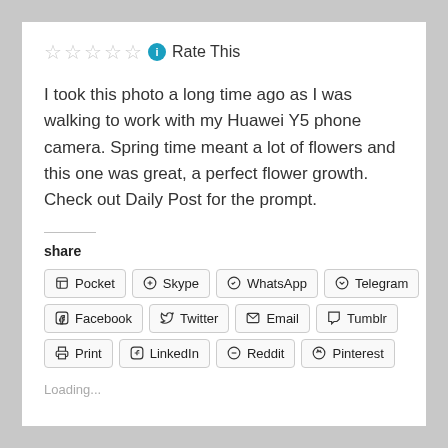☆☆☆☆☆ ℹ Rate This
I took this photo a long time ago as I was walking to work with my Huawei Y5 phone camera. Spring time meant a lot of flowers and this one was great, a perfect flower growth. Check out Daily Post for the prompt.
share
[Figure (screenshot): Social share buttons: Pocket, Skype, WhatsApp, Telegram, Facebook, Twitter, Email, Tumblr, Print, LinkedIn, Reddit, Pinterest]
Loading...